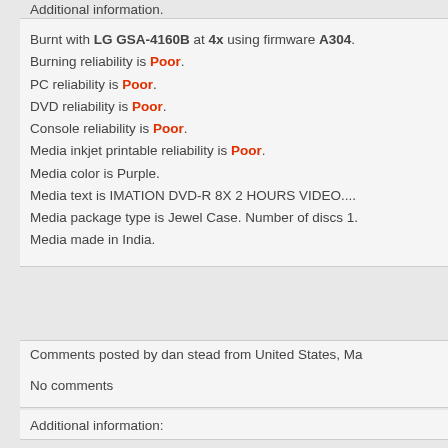Additional information.
Burnt with LG GSA-4160B at 4x using firmware A304. Burning reliability is Poor. PC reliability is Poor. DVD reliability is Poor. Console reliability is Poor. Media inkjet printable reliability is Poor. Media color is Purple. Media text is IMATION DVD-R 8X 2 HOURS VIDEO.... Media package type is Jewel Case. Number of discs 1. Media made in India.
Comments posted by dan stead from United States, Ma
No comments
Additional information: